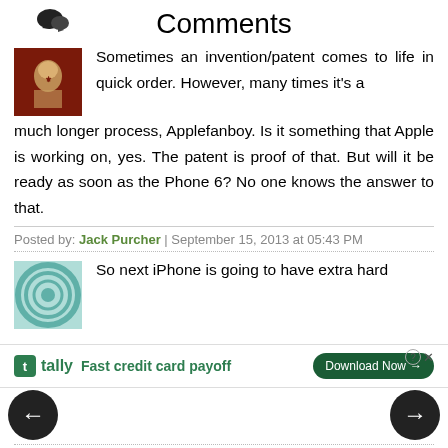Comments
Sometimes an invention/patent comes to life in quick order. However, many times it's a much longer process, Applefanboy. Is it something that Apple is working on, yes. The patent is proof of that. But will it be ready as soon as the Phone 6? No one knows the answer to that.
Posted by: Jack Purcher | September 15, 2013 at 05:43 PM
So next iPhone is going to have extra hard
Posted by: applefanboy | September 15, 2013 at 01:25 AM